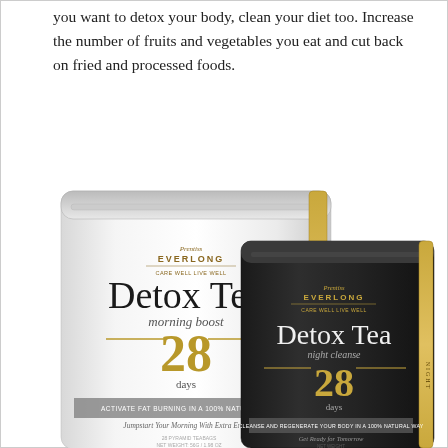you want to detox your body, clean your diet too. Increase the number of fruits and vegetables you eat and cut back on fried and processed foods.
[Figure (photo): Two product packages of Everlong Detox Tea. Left: a white/silver pouch labeled 'Detox Tea morning boost 28 days' with text 'Activate Fat Burning In A 100% Natural Way' and 'Jumpstart Your Morning With Extra Energy'. Right: a dark/black pouch labeled 'Detox Tea night cleanse 28 days' with text 'Cleanse And Regenerate Your Body In A 100% Natural Way' and 'Get Ready For Tomorrow'.]